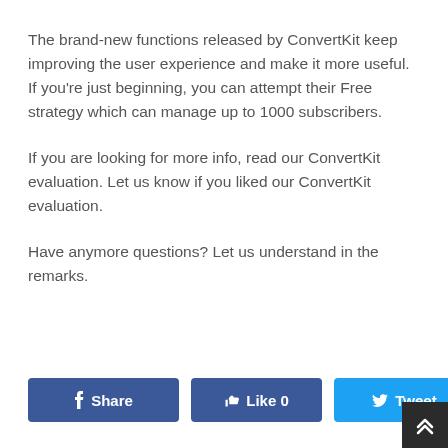The brand-new functions released by ConvertKit keep improving the user experience and make it more useful. If you're just beginning, you can attempt their Free strategy which can manage up to 1000 subscribers.
If you are looking for more info, read our ConvertKit evaluation. Let us know if you liked our ConvertKit evaluation.
Have anymore questions? Let us understand in the remarks.
[Figure (other): Social sharing buttons: Share (Facebook, dark blue), Like 0 (Facebook, blue), Tweet (Twitter, light blue), Pin it (Pinterest, red), and a scroll-to-top button (dark gray with upward chevron arrows)]